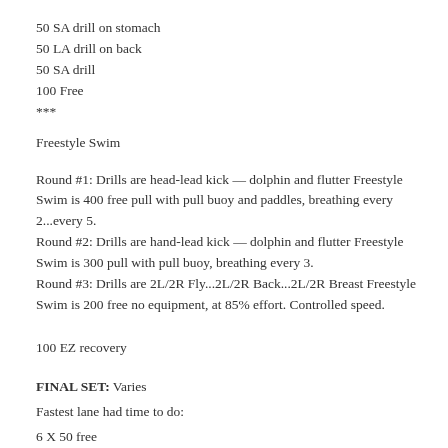50 SA drill on stomach
50 LA drill on back
50 SA drill
100 Free
***
Freestyle Swim
Round #1: Drills are head-lead kick — dolphin and flutter Freestyle Swim is 400 free pull with pull buoy and paddles, breathing every 2...every 5.
Round #2: Drills are hand-lead kick — dolphin and flutter Freestyle Swim is 300 pull with pull buoy, breathing every 3.
Round #3: Drills are 2L/2R Fly...2L/2R Back...2L/2R Breast Freestyle Swim is 200 free no equipment, at 85% effort. Controlled speed.
100 EZ recovery
FINAL SET: Varies
Fastest lane had time to do:
6 X 50 free